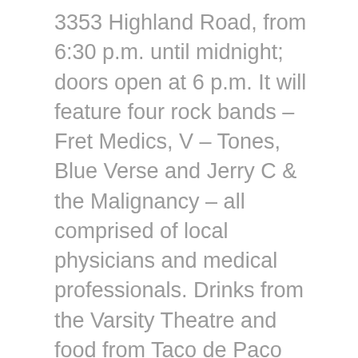3353 Highland Road, from 6:30 p.m. until midnight; doors open at 6 p.m. It will feature four rock bands – Fret Medics, V – Tones, Blue Verse and Jerry C & the Malignancy – all comprised of local physicians and medical professionals. Drinks from the Varsity Theatre and food from Taco de Paco will be available for purchase. All proceeds will benefit diagnosis, treatment and support for skin and soft tissue cancer patients at Mary Bird Perkins-Our Lady of the Lake Cancer Center.
Last year's inaugural event raised more than $15,000 and had nearly 400 attendees, exceeding both its audience goal by 50 percent and its fundraising goal by 200 percent.
Dr. John Lyons, founder of the event and chair